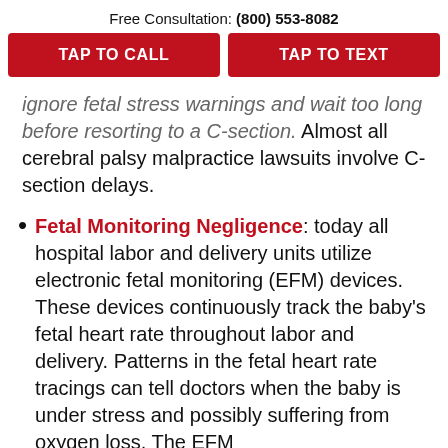Free Consultation: (800) 553-8082
TAP TO CALL
TAP TO TEXT
ignore fetal stress warnings and wait too long before resorting to a C-section. Almost all cerebral palsy malpractice lawsuits involve C-section delays.
Fetal Monitoring Negligence: today all hospital labor and delivery units utilize electronic fetal monitoring (EFM) devices. These devices continuously track the baby's fetal heart rate throughout labor and delivery. Patterns in the fetal heart rate tracings can tell doctors when the baby is under stress and possibly suffering from oxygen loss. The EFM